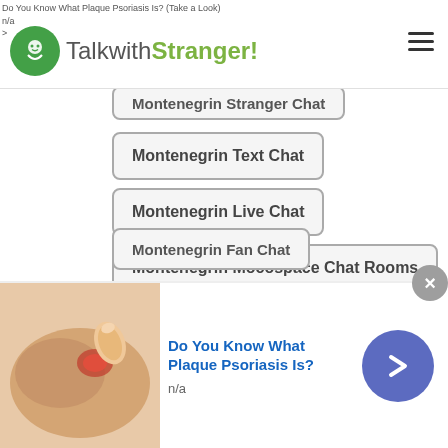Do You Know What Plaque Psoriasis Is? (Take a Look)
n/a
>
TalkwithStranger!
Montenegrin Stranger Chat (partially visible)
Montenegrin Text Chat
Montenegrin Live Chat
Montenegrin Mocospace Chat Rooms
Montenegrin Omegle Random Chat
Montenegrin Chat Online
Montenegrin Find Friends
Montenegrin Free Online Therapy Chatroom
Montenegrin Fan Chat (partially visible)
[Figure (screenshot): Scroll-to-top button with cyan background and upward chevron arrow]
[Figure (photo): Advertisement image showing skin with psoriasis lesion]
Do You Know What Plaque Psoriasis Is?
n/a